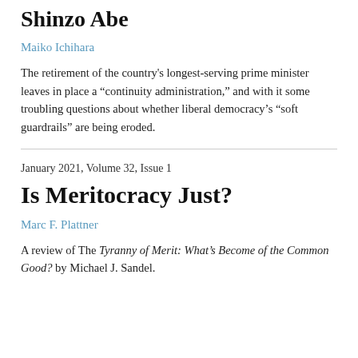Shinzo Abe
Maiko Ichihara
The retirement of the country's longest-serving prime minister leaves in place a “continuity administration,” and with it some troubling questions about whether liberal democracy’s “soft guardrails” are being eroded.
January 2021, Volume 32, Issue 1
Is Meritocracy Just?
Marc F. Plattner
A review of The Tyranny of Merit: What's Become of the Common Good? by Michael J. Sandel.